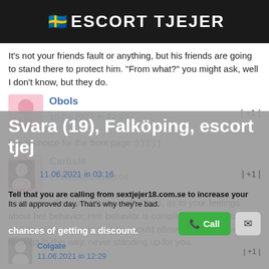ESCORT TJEJER
It's not your friends fault or anything, but his friends are going to stand there to protect him. "From what?" you might ask, well I don't know, but they do.
Obols
10.06.2021 in 22:42
| +1 |
Great choice for the front page :):):):):)
Carlisle
11.06.2021 in 03:04
| +1 |
I hope you discussed things with Chris, as to your feelings about her behavior. Her behavior is completely unacceptable, and it's quite amazing that he should allow her to hurt your feelings in this way, never standing up for you.
Svara (19), Falköping, escort tjej
11.06.2021 in 03:16
| +1 |
Tell that you are calling from sextjejer18.com.se to increase your chances of getting a discount.
Its all approved day. That's why they're bad.
Colgate
11.06.2021 in 12:29
| +1 |